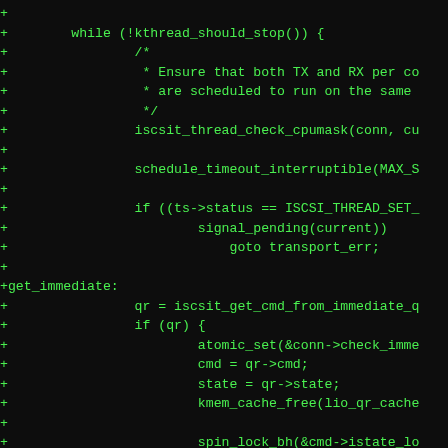[Figure (screenshot): Source code diff in a terminal/code viewer showing C kernel code with green text on black background. Lines show additions (prefixed with +) including a while loop, comments about TX and RX threads, function calls to iscsit_thread_check_cpumask, schedule_timeout_interruptible, conditional checks, goto statement, label get_immediate, and various iSCSI command handling code including atomic_set, kmem_cache_free, spin_lock_bh, switch statement with cases ISTATE_SEND_R2T and ISTATE_REMOVE.]